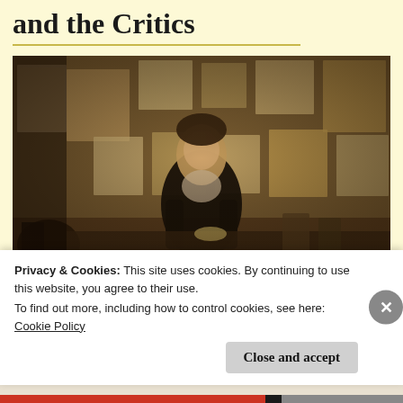and the Critics
[Figure (photo): Sepia-toned film still of a young man in a dark vest sitting at a desk covered with papers and drawings, with a wall behind him covered in sketches, maps, and papers.]
“Tolkien” is sincere, good-hearted, and often beautiful, though it sometimes stumbles and loses sight of the real
Privacy & Cookies: This site uses cookies. By continuing to use this website, you agree to their use.
To find out more, including how to control cookies, see here: Cookie Policy
Close and accept